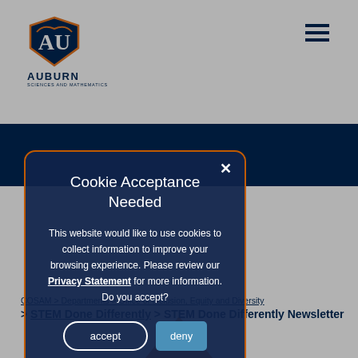Auburn Sciences and Mathematics
[Figure (logo): Auburn University shield logo with eagle, text AUBURN and SCIENCES AND MATHEMATICS below]
Cookie Acceptance Needed
This website would like to use cookies to collect information to improve your browsing experience. Please review our Privacy Statement for more information. Do you accept?
accept  deny
COSAM > Departments > Office of Inclusion, Equity and Diversity > STEM Done Differently > STEM Done Differently Newsletter